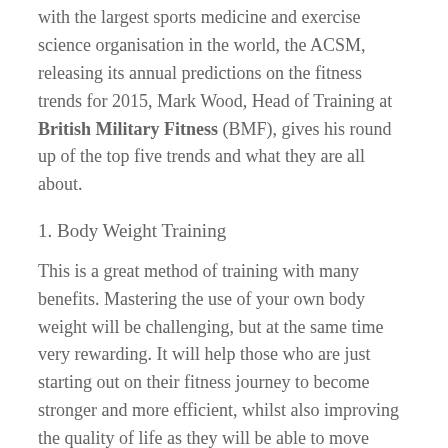with the largest sports medicine and exercise science organisation in the world, the ACSM, releasing its annual predictions on the fitness trends for 2015, Mark Wood, Head of Training at British Military Fitness (BMF), gives his round up of the top five trends and what they are all about.
1. Body Weight Training
This is a great method of training with many benefits. Mastering the use of your own body weight will be challenging, but at the same time very rewarding. It will help those who are just starting out on their fitness journey to become stronger and more efficient, whilst also improving the quality of life as they will be able to move around with ease. It can also be used as a training tool for more advanced fitness enthusiasts, as there is a huge amount